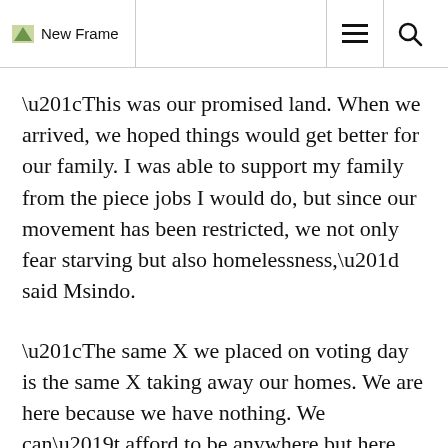New Frame
“This was our promised land. When we arrived, we hoped things would get better for our family. I was able to support my family from the piece jobs I would do, but since our movement has been restricted, we not only fear starving but also homelessness,” said Msindo.
“The same X we placed on voting day is the same X taking away our homes. We are here because we have nothing. We can’t afford to be anywhere but here – we’ve built decent homes from scratch and all we need is protection and